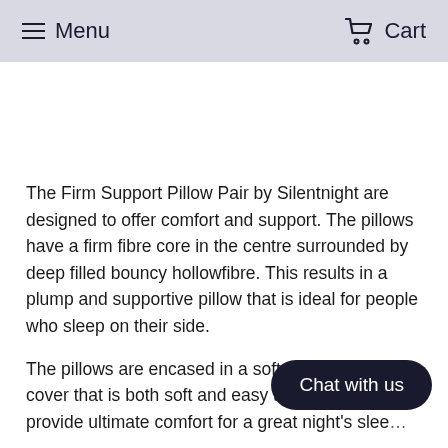Menu   Cart
[Figure (other): Empty white space placeholder area where a product image would appear]
The Firm Support Pillow Pair by Silentnight are designed to offer comfort and support. The pillows have a firm fibre core in the centre surrounded by deep filled bouncy hollowfibre. This results in a plump and supportive pillow that is ideal for people who sleep on their side.
The pillows are encased in a soft touch microfibre cover that is both soft and easy to care for and will provide ultimate comfort for a great night's slee…
The pillows come with a two year manu… tee so you can sleep soundly with your purchase. The pillows are hypoallergenic which means they do not contain…